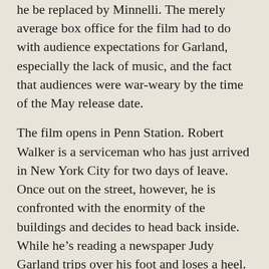he be replaced by Minnelli. The merely average box office for the film had to do with audience expectations for Garland, especially the lack of music, and the fact that audiences were war-weary by the time of the May release date.
The film opens in Penn Station. Robert Walker is a serviceman who has just arrived in New York City for two days of leave. Once out on the street, however, he is confronted with the enormity of the buildings and decides to head back inside. While he's reading a newspaper Judy Garland trips over his foot and loses a heel. He gets it fixed and tags along with her up Fifth Avenue, still stunned at the scenery. Though she tries to let him down easy and wants to get home to her apartment, Garland winds up taking him to Central Park and then to the Metropolitan Museum of Art where they walk and talk, mostly he does, about what he wants after the war, to settle down in his small hometown. Eventually she does catch her bus, but Walker runs it down and she agrees to see him that night, under the big clock at the Hotel Astor. When Garland finally gets home her roommate, Ruth Brady, grills her about being picked up by a uniform. But Garland is also from a small town and is drawn to Walker's simple charm. After apologizing Brady also admits